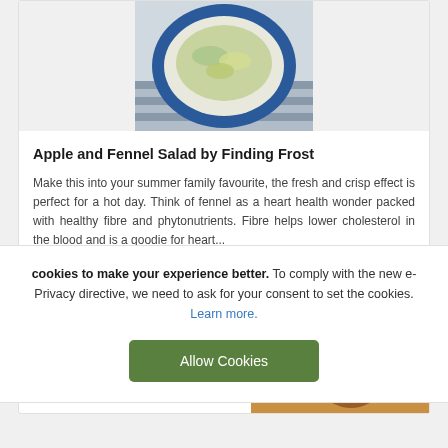[Figure (photo): Photo of an apple and fennel salad served in a blue patterned bowl on a striped tablecloth, viewed from above]
Apple and Fennel Salad by Finding Frost
Make this into your summer family favourite, the fresh and crisp effect is perfect for a hot day. Think of fennel as a heart health wonder packed with healthy fibre and phytonutrients. Fibre helps lower cholesterol in the blood and is a goodie for heart...
Read more
[Figure (photo): Photo partially visible of a person, warm golden tones, with a date badge showing 15 JAN]
We use cookies to make your experience better. To comply with the new e-Privacy directive, we need to ask for your consent to set the cookies. Learn more.
Allow Cookies